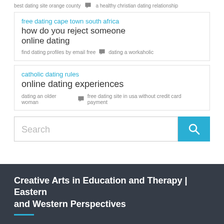best dating site orange county  💬  a healthy christian dating relationship
free dating cape town south africa  how do you reject someone online dating
find dating profiles by email free  💬  dating a workaholic
catholic dating rules  online dating experiences
dating an older woman  💬  free dating site in usa without credit card payment
[Figure (screenshot): Search bar with blue search button]
Creative Arts in Education and Therapy | Eastern and Western Perspectives